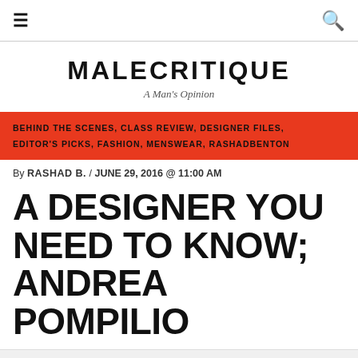≡  🔍
MALECRITIQUE
A Man's Opinion
BEHIND THE SCENES, CLASS REVIEW, DESIGNER FILES, EDITOR'S PICKS, FASHION, MENSWEAR, RASHADBENTON
By RASHAD B. / JUNE 29, 2016 @ 11:00 AM
A DESIGNER YOU NEED TO KNOW; ANDREA POMPILIO